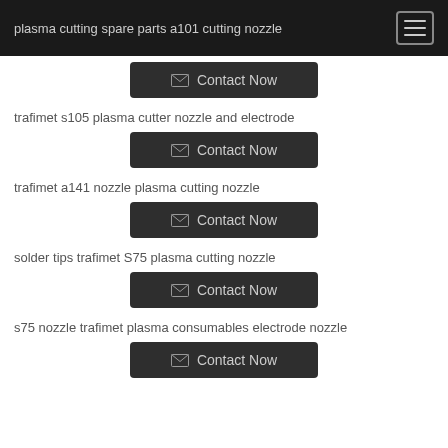plasma cutting spare parts a101 cutting nozzle
trafimet s105 plasma cutter nozzle and electrode
Contact Now
trafimet a141 nozzle plasma cutting nozzle
Contact Now
solder tips trafimet S75 plasma cutting nozzle
Contact Now
s75 nozzle trafimet plasma consumables electrode nozzle
Contact Now